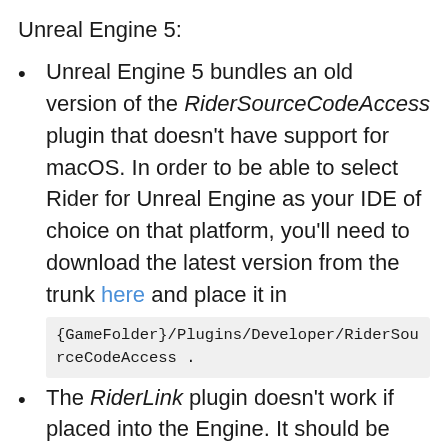Unreal Engine 5:
Unreal Engine 5 bundles an old version of the RiderSourceCodeAccess plugin that doesn't have support for macOS. In order to be able to select Rider for Unreal Engine as your IDE of choice on that platform, you'll need to download the latest version from the trunk here and place it in {GameFolder}/Plugins/Developer/RiderSourceCodeAccess .
The RiderLink plugin doesn't work if placed into the Engine. It should be placed into the Game only. Learn more